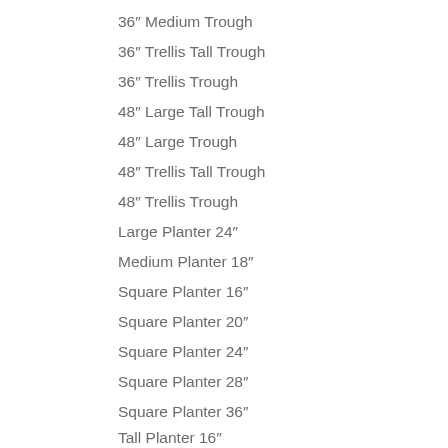36″ Medium Trough
36″ Trellis Tall Trough
36″ Trellis Trough
48″ Large Tall Trough
48″ Large Trough
48″ Trellis Tall Trough
48″ Trellis Trough
Large Planter 24″
Medium Planter 18″
Square Planter 16″
Square Planter 20″
Square Planter 24″
Square Planter 28″
Square Planter 36″
Tall Planter 16″